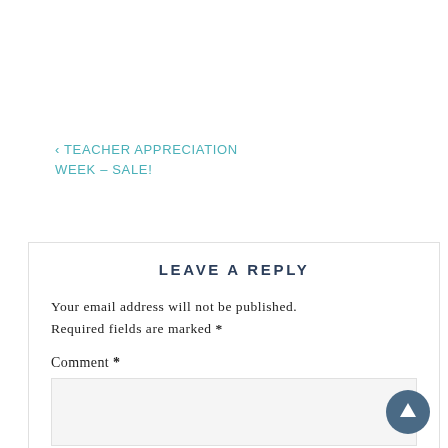‹ TEACHER APPRECIATION WEEK – SALE!
LEAVE A REPLY
Your email address will not be published. Required fields are marked *
Comment *